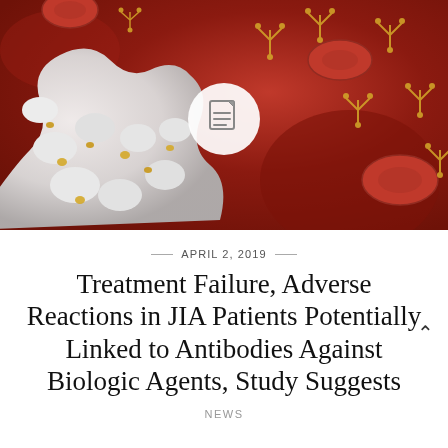[Figure (photo): Medical illustration of white blood cells (leukocytes) surrounded by red blood cells and golden antibody molecules on a dark red background, with a document icon overlaid in a white circle in the center.]
APRIL 2, 2019
Treatment Failure, Adverse Reactions in JIA Patients Potentially Linked to Antibodies Against Biologic Agents, Study Suggests
NEWS